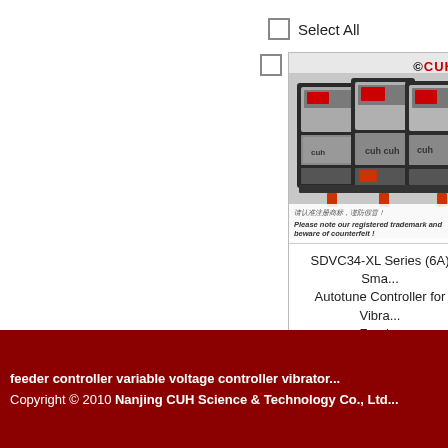Select All
[Figure (photo): Photo of SDVC34-XL Series (6A) Smart Autotune Controller for Vibrating Feeder devices by CUH, showing three stacked electronic control units with digital displays and connectors. Includes trademark notice in Chinese and English: 'Please note our registered trademark and beware of counterfeit!']
SDVC34-XL Series (6A) Sma... Autotune Controller for Vibra... Feeder
feeder controller variable voltage controller vibrator... Copyright © 2010 Nanjing CUH Science & Technology Co., Ltd...